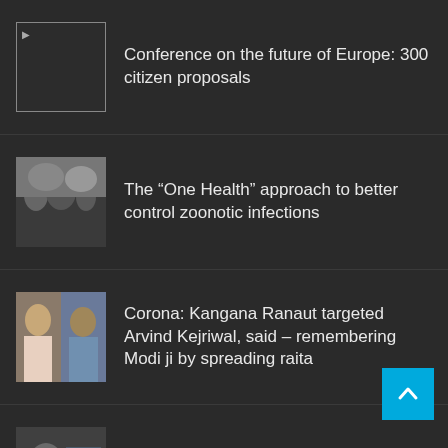Conference on the future of Europe: 300 citizen proposals
The “One Health” approach to better control zoonotic infections
Corona: Kangana Ranaut targeted Arvind Kejriwal, said – remembering Modi ji by spreading raita
Return of Thomas Pesquet: “Finding gravity is not necessarily easier the